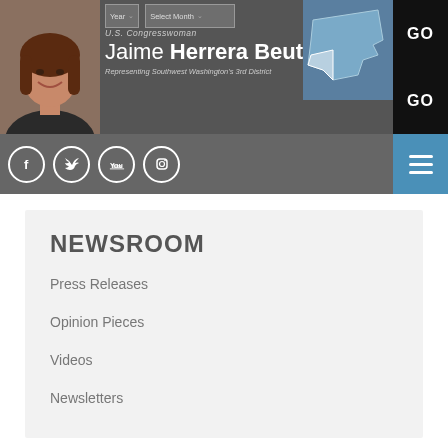[Figure (screenshot): Website header for U.S. Congresswoman Jaime Herrera Beutler, Representing Southwest Washington's 3rd District. Includes photo, name, dropdown menus for Year and Select Month with GO buttons, Washington state map, social media icons (Facebook, Twitter, YouTube, Instagram), search icon, and hamburger menu.]
NEWSROOM
Press Releases
Opinion Pieces
Videos
Newsletters